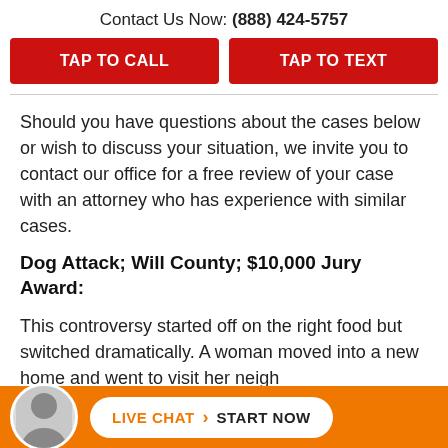Contact Us Now: (888) 424-5757
TAP TO CALL
TAP TO TEXT
Should you have questions about the cases below or wish to discuss your situation, we invite you to contact our office for a free review of your case with an attorney who has experience with similar cases.
Dog Attack; Will County; $10,000 Jury Award:
This controversy started off on the right food but switched dramatically. A woman moved into a new home and went to visit her neigh... to ...t
LIVE CHAT › START NOW